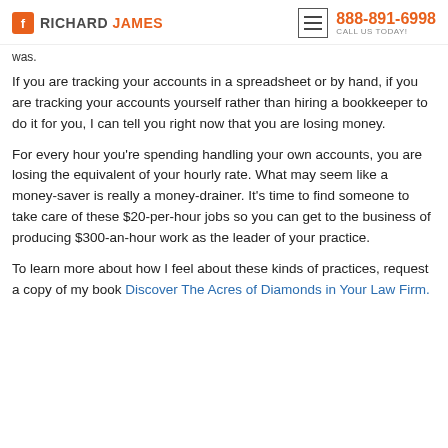RICHARD JAMES | 888-891-6998 CALL US TODAY!
was.
If you are tracking your accounts in a spreadsheet or by hand, if you are tracking your accounts yourself rather than hiring a bookkeeper to do it for you, I can tell you right now that you are losing money.
For every hour you're spending handling your own accounts, you are losing the equivalent of your hourly rate. What may seem like a money-saver is really a money-drainer. It's time to find someone to take care of these $20-per-hour jobs so you can get to the business of producing $300-an-hour work as the leader of your practice.
To learn more about how I feel about these kinds of practices, request a copy of my book Discover The Acres of Diamonds in Your Law Firm.